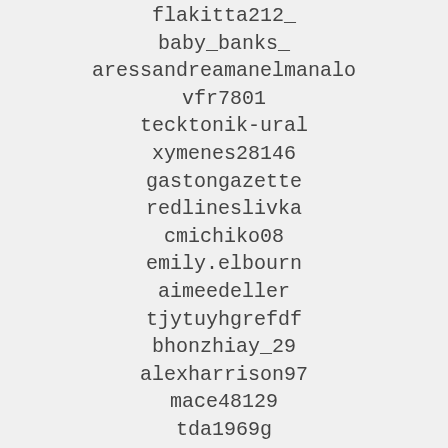flakitta212_
baby_banks_
aressandreamanelmanalo
vfr7801
tecktonik-ural
xymenes28146
gastongazette
redlineslivka
cmichiko08
emily.elbourn
aimeedeller
tjytuyhgrefdf
bhonzhiay_29
alexharrison97
mace48129
tda1969g
tyrone15420
urigidi
nicknack.shop
stevemarinjr
cayden328
cec7m3ty5nwuv177
warde55969
trimeyers1
teodoor87080